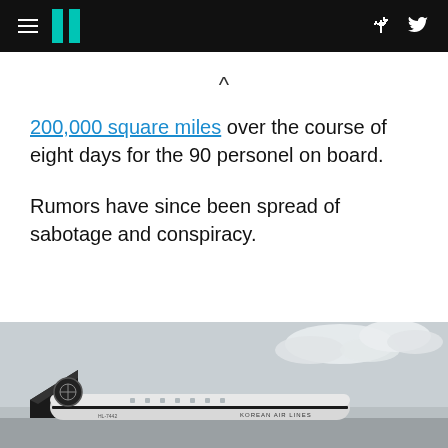HuffPost navigation header with hamburger menu, logo, Facebook and Twitter icons
200,000 square miles over the course of eight days for the 90 personel on board.
Rumors have since been spread of sabotage and conspiracy.
[Figure (photo): Black and white photograph of a Korean Air Lines aircraft on the ground, showing the tail fin with logo and fuselage with 'KOREAN AIR LINES' text, against a cloudy sky.]